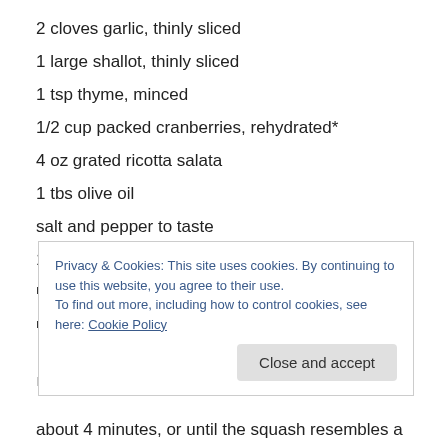2 cloves garlic, thinly sliced
1 large shallot, thinly sliced
1 tsp thyme, minced
1/2 cup packed cranberries, rehydrated*
4 oz grated ricotta salata
1 tbs olive oil
salt and pepper to taste
1/3 cup chopped fresh parsley
Preheat the oven to 415 degrees.
Roll the pizza into a large circle or into a 9 x 13 inch
Privacy & Cookies: This site uses cookies. By continuing to use this website, you agree to their use.
To find out more, including how to control cookies, see here: Cookie Policy
about 4 minutes, or until the squash resembles a